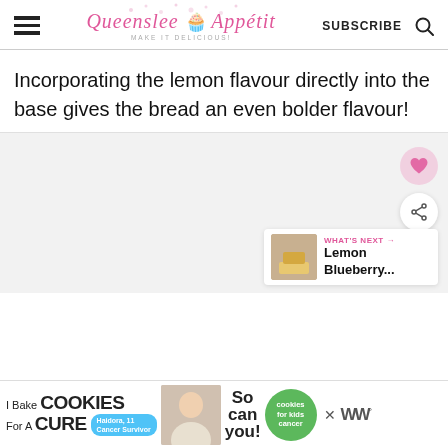Queenslee Appétit — SUBSCRIBE
Incorporating the lemon flavour directly into the base gives the bread an even bolder flavour!
[Figure (other): Content area with heart and share floating action buttons, and a 'WHAT'S NEXT' sidebar card showing 'Lemon Blueberry...']
[Figure (other): Advertisement banner: 'I Bake COOKIES For A CURE' with Haidora cancer survivor, 'So can you!' and cookies for kids cancer badge]